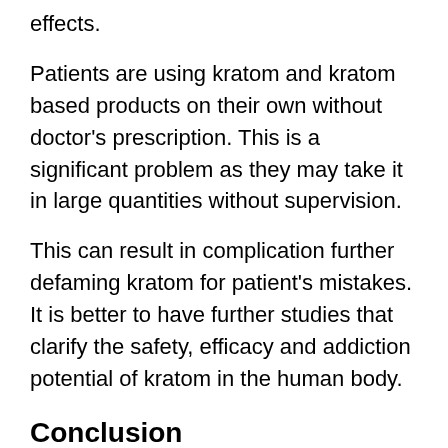effects.
Patients are using kratom and kratom based products on their own without doctor's prescription. This is a significant problem as they may take it in large quantities without supervision.
This can result in complication further defaming kratom for patient's mistakes. It is better to have further studies that clarify the safety, efficacy and addiction potential of kratom in the human body.
Conclusion